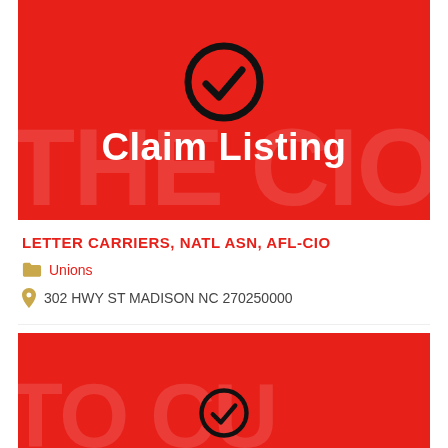[Figure (illustration): Red banner with white checkmark circle icon and large white bold text 'Claim Listing' centered, with faint watermark text in background]
LETTER CARRIERS, NATL ASN, AFL-CIO
Unions
302 HWY ST MADISON NC 270250000
[Figure (illustration): Second red banner with faint watermark text background, partially visible checkmark icon at bottom]